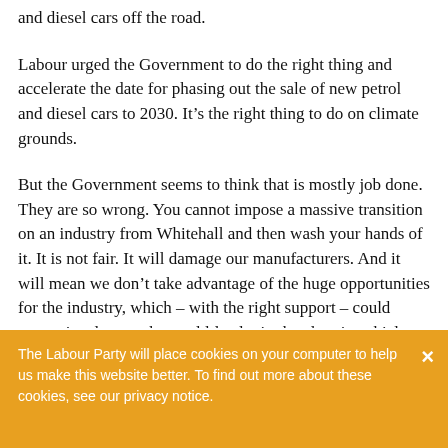and diesel cars off the road.
Labour urged the Government to do the right thing and accelerate the date for phasing out the sale of new petrol and diesel cars to 2030. It’s the right thing to do on climate grounds.
But the Government seems to think that is mostly job done. They are so wrong. You cannot impose a massive transition on an industry from Whitehall and then wash your hands of it. It is not fair. It will damage our manufacturers. And it will mean we don’t take advantage of the huge opportunities for the industry, which – with the right support – could secure its place as the world-leader in the electric vehicle market.
The Labour Party will place cookies on your computer to help us make this website better. To find out more about these cookies, see our privacy notice.